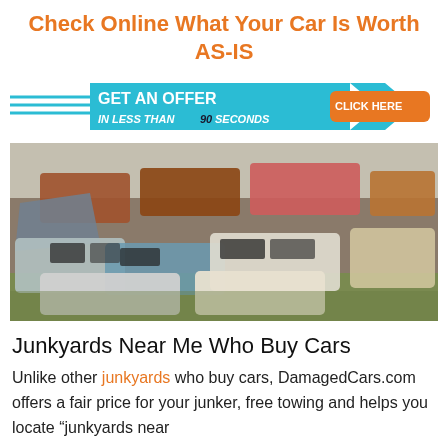Check Online What Your Car Is Worth AS-IS
[Figure (infographic): Banner ad: GET AN OFFER IN LESS THAN 90 SECONDS with CLICK HERE button and speed lines arrow graphic in blue and orange]
[Figure (photo): Photo of a junkyard filled with old, damaged, rusted cars crowded together in an outdoor lot with dry grass]
Junkyards Near Me Who Buy Cars
Unlike other junkyards who buy cars, DamagedCars.com offers a fair price for your junker, free towing and helps you locate "junkyards near